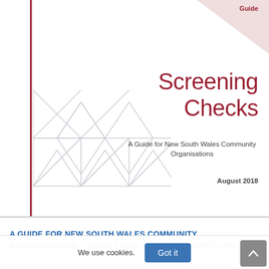[Figure (illustration): Cover page of a government publication titled 'Screening Checks - A Guide for New South Wales Community Organisations, August 2018'. Features a white background with a dark red/maroon vertical line on the left, geometric triangle patterns in light grey at the bottom left, a triangular corner decoration in top right, and the title in crimson/dark red text on the right side.]
Screening Checks
A Guide for New South Wales Community Organisations
August 2018
A GUIDE FOR NEW SOUTH WALES COMMUNITY ORGANISATIONS - AUGUST 2018 - NOT-FOR-PROFIT LAW
We use cookies.